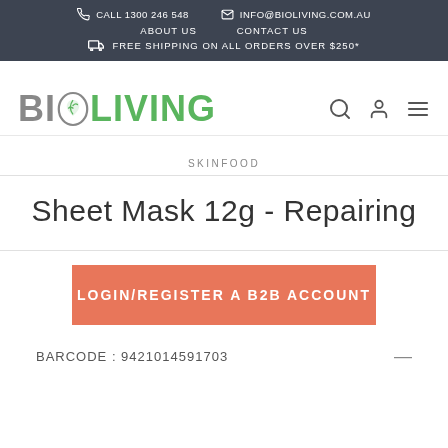CALL 1300 246 548   INFO@BIOLIVING.COM.AU   ABOUT US   CONTACT US   FREE SHIPPING ON ALL ORDERS OVER $250*
[Figure (logo): BioLiving logo with plant icon in letter O, search icon, user icon, and hamburger menu icon]
SKINFOOD
Sheet Mask 12g - Repairing
LOGIN/REGISTER A B2B ACCOUNT
BARCODE : 9421014591703